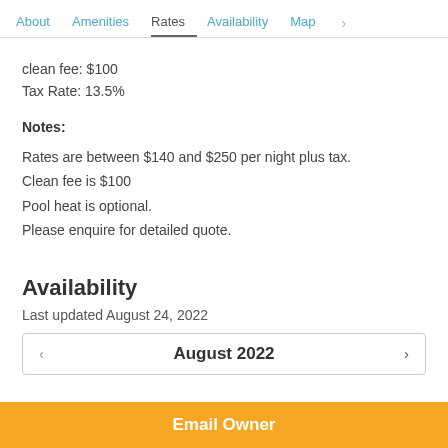About  Amenities  Rates  Availability  Map  >
clean fee: $100
Tax Rate: 13.5%
Notes:
Rates are between $140 and $250 per night plus tax.
Clean fee is $100
Pool heat is optional.
Please enquire for detailed quote.
Availability
Last updated August 24, 2022
< August 2022 >
Email Owner